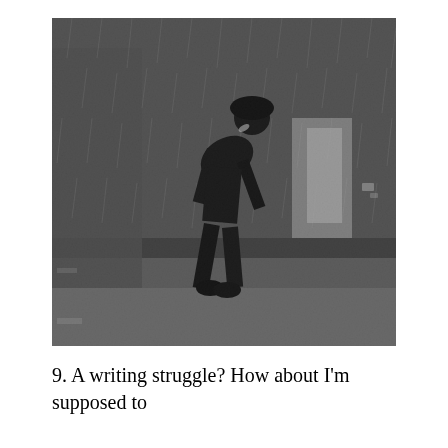[Figure (photo): Black and white photograph of a silhouetted figure bent forward against heavy rain, seemingly struggling to walk. The background shows a wet street or sidewalk with blurred lights and a wall. The scene is dark and dramatic.]
9. A writing struggle? How about I'm supposed to